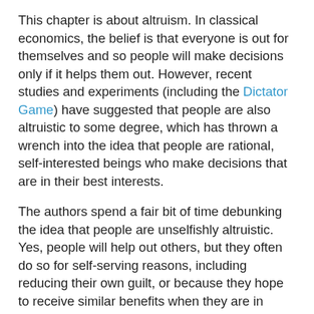This chapter is about altruism. In classical economics, the belief is that everyone is out for themselves and so people will make decisions only if it helps them out. However, recent studies and experiments (including the Dictator Game) have suggested that people are also altruistic to some degree, which has thrown a wrench into the idea that people are rational, self-interested beings who make decisions that are in their best interests.
The authors spend a fair bit of time debunking the idea that people are unselfishly altruistic. Yes, people will help out others, but they often do so for self-serving reasons, including reducing their own guilt, or because they hope to receive similar benefits when they are in need, or because someone is watching. The authors cite a few variants of the Dictator Game introduced by John List (the economist, not the mass murderer) that suggest people are not as altruistic as originally thought.
Though people may give money away in supervised games, outside of the laboratory the authors suggest the practical evidence suggests people are not all that altruistic